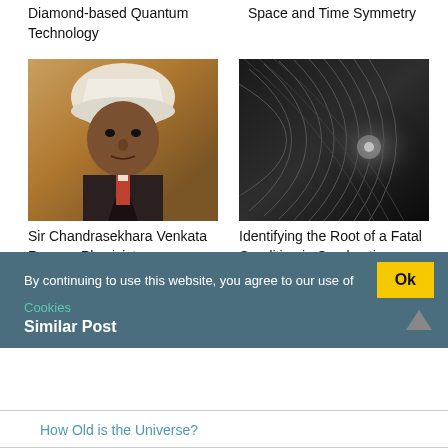Diamond-based Quantum Technology
Space and Time Symmetry
[Figure (photo): Portrait photograph of Sir Chandrasekhara Venkata Raman, Indian physicist, wearing white turban and suit]
[Figure (photo): Black and white close-up photograph of a combustion rocket engine turbine blades]
Sir Chandrasekhara Venkata Raman: Physicist
Identifying the Root of a Fatal Condition in Combustion Rocket Engines
By continuing to use this website, you agree to our use of
Cookies
Similar Post
How Old is the Universe?